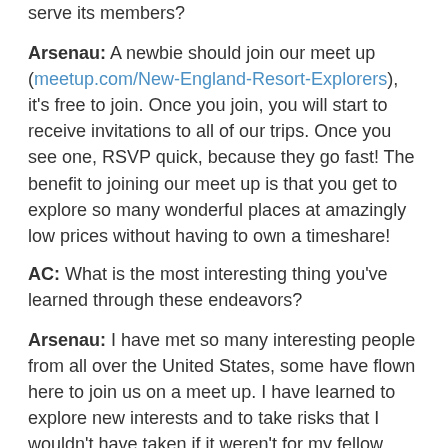serve its members?
Arsenau: A newbie should join our meet up (meetup.com/New-England-Resort-Explorers), it's free to join. Once you join, you will start to receive invitations to all of our trips. Once you see one, RSVP quick, because they go fast! The benefit to joining our meet up is that you get to explore so many wonderful places at amazingly low prices without having to own a timeshare!
AC: What is the most interesting thing you've learned through these endeavors?
Arsenau: I have met so many interesting people from all over the United States, some have flown here to join us on a meet up. I have learned to explore new interests and to take risks that I wouldn't have taken if it weren't for my fellow explorers. For example, riding a zip line and exploring a high ropes